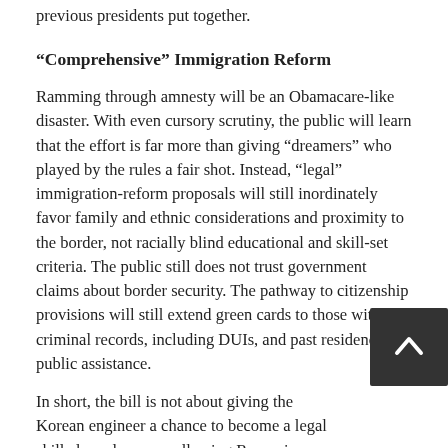previous presidents put together.
“Comprehensive” Immigration Reform
Ramming through amnesty will be an Obamacare-like disaster. With even cursory scrutiny, the public will learn that the effort is far more than giving “dreamers” who played by the rules a fair shot. Instead, “legal” immigration-reform proposals will still inordinately favor family and ethnic considerations and proximity to the border, not racially blind educational and skill-set criteria. The public still does not trust government claims about border security. The pathway to citizenship provisions will still extend green cards to those with criminal records, including DUIs, and past residence on public assistance.
In short, the bill is not about giving the Korean engineer a chance to become a legal skilled employee, or allowing the Romanian doctor to practice without fear of deportation.
It is not about giving the Mexican national, who is a National